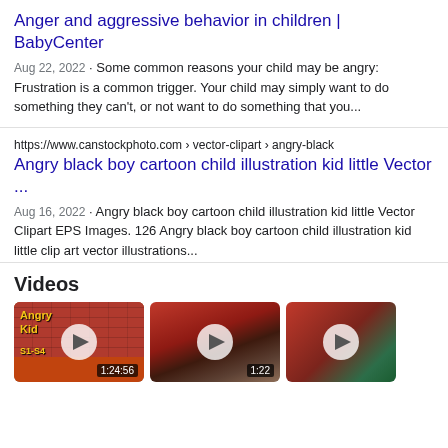Anger and aggressive behavior in children | BabyCenter
Aug 22, 2022 · Some common reasons your child may be angry: Frustration is a common trigger. Your child may simply want to do something they can't, or not want to do something that you...
https://www.canstockphoto.com › vector-clipart › angry-black
Angry black boy cartoon child illustration kid little Vector ...
Aug 16, 2022 · Angry black boy cartoon child illustration kid little Vector Clipart EPS Images. 126 Angry black boy cartoon child illustration kid little clip art vector illustrations...
Videos
[Figure (screenshot): Video thumbnail: Angry Kid S1-S4 with duration 1:24:56]
[Figure (screenshot): Video thumbnail with person in vehicle interior, duration 1:22]
[Figure (screenshot): Video thumbnail with red car and greenery, partially visible]